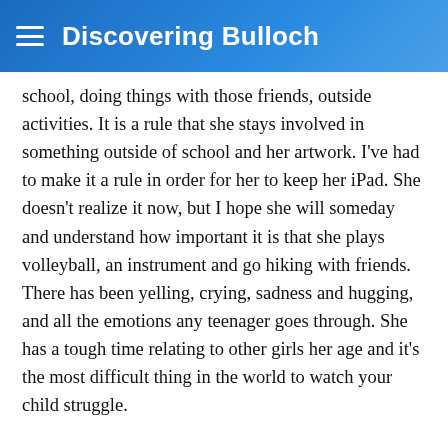≡  Discovering Bulloch
school, doing things with those friends, outside activities. It is a rule that she stays involved in something outside of school and her artwork. I've had to make it a rule in order for her to keep her iPad. She doesn't realize it now, but I hope she will someday and understand how important it is that she plays volleyball, an instrument and go hiking with friends. There has been yelling, crying, sadness and hugging, and all the emotions any teenager goes through. She has a tough time relating to other girls her age and it's the most difficult thing in the world to watch your child struggle.
Together we have found a couple things she does and although there may still be whining, once she gets there or starts the activity, usually it's all good. She doesn't understand it now but it's not her choice. I am helping her create healthy habits. If she